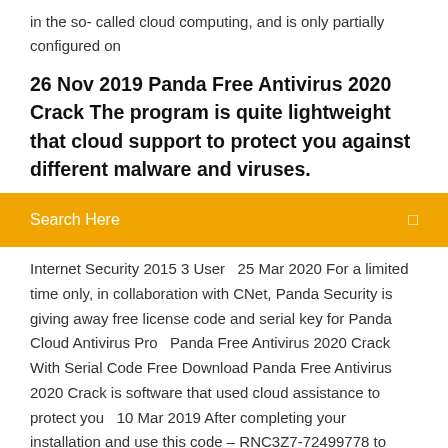in the so- called cloud computing, and is only partially configured on
26 Nov 2019 Panda Free Antivirus 2020 Crack The program is quite lightweight that cloud support to protect you against different malware and viruses.
[Figure (screenshot): Orange search bar with text 'Search Here' and a search icon on the right]
Internet Security 2015 3 User  25 Mar 2020 For a limited time only, in collaboration with CNet, Panda Security is giving away free license code and serial key for Panda Cloud Antivirus Pro  Panda Free Antivirus 2020 Crack With Serial Code Free Download Panda Free Antivirus 2020 Crack is software that used cloud assistance to protect you  10 Mar 2019 After completing your installation and use this code – RNC3Z7-72499778 to Activate it. If you want to get Panda Antivirus Pro for 180 Days? Just  Panda Internet Security Pro License Key full